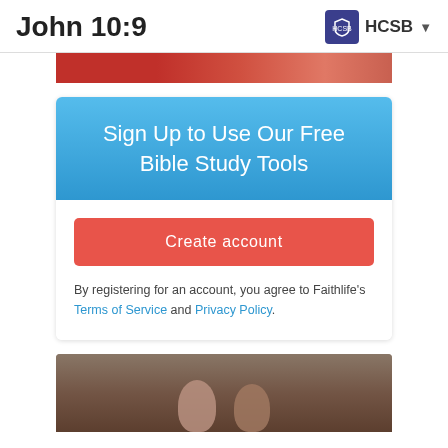John 10:9  HCSB
[Figure (photo): Partial cropped image at top showing red background with a person]
Sign Up to Use Our Free Bible Study Tools
Create account
By registering for an account, you agree to Faithlife's Terms of Service and Privacy Policy.
[Figure (photo): Photo of two boys smiling in front of a brick wall]